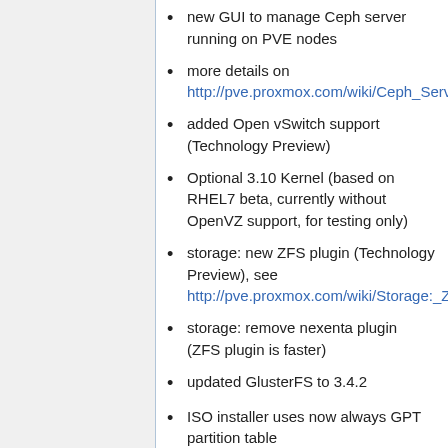new GUI to manage Ceph server running on PVE nodes
more details on http://pve.proxmox.com/wiki/Ceph_Server
added Open vSwitch support (Technology Preview)
Optional 3.10 Kernel (based on RHEL7 beta, currently without OpenVZ support, for testing only)
storage: new ZFS plugin (Technology Preview), see http://pve.proxmox.com/wiki/Storage:_ZFS
storage: remove nexenta plugin (ZFS plugin is faster)
updated GlusterFS to 3.4.2
ISO installer uses now always GPT partition table